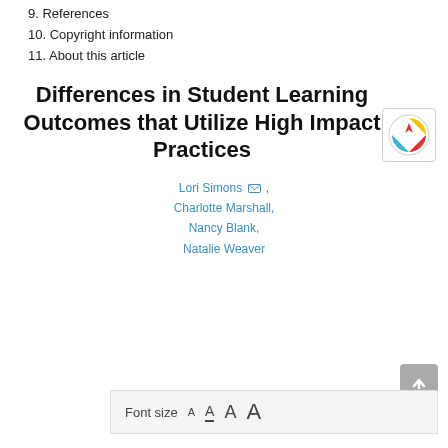9. References
10. Copyright information
11. About this article
Differences in Student Learning Outcomes that Utilize High Impact Practices
Lori Simons, Charlotte Marshall, Nancy Blank, Natalie Weaver
Font size A A A A